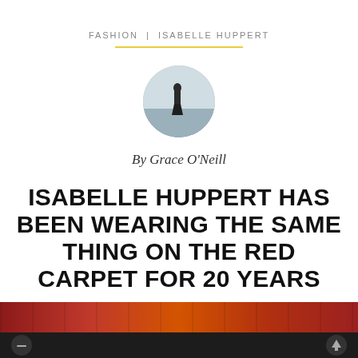FASHION | ISABELLE HUPPERT
[Figure (photo): Circular avatar photo of a person standing on a beach/shore in a dark outfit, grey sky background]
By Grace O'Neill
ISABELLE HUPPERT HAS BEEN WEARING THE SAME THING ON THE RED CARPET FOR 20 YEARS
The Queen of French style.
[Figure (photo): Bottom strip showing partial red-toned photo with navigation arrows on dark bar]